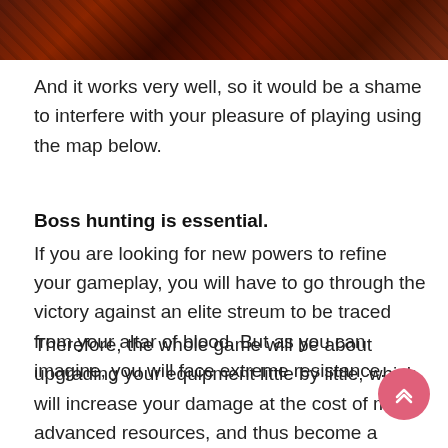[Figure (photo): Dark reddish game screenshot or illustration strip at the top of the page, showing a fantasy/gothic game scene.]
And it works very well, so it would be a shame to interfere with your pleasure of playing using the map below.
Boss hunting is essential.
If you are looking for new powers to refine your gameplay, you will have to go through the victory against an elite streum to be traced from your altar of blood. But as you can imagine, you will face extreme resistance.
Therefore, the whole game will be about upgrading your equipment little by little, which will increase your damage at the cost of more advanced resources, and thus become a vampire capable of resisting the confrontation against the most demanding bosses in the game.